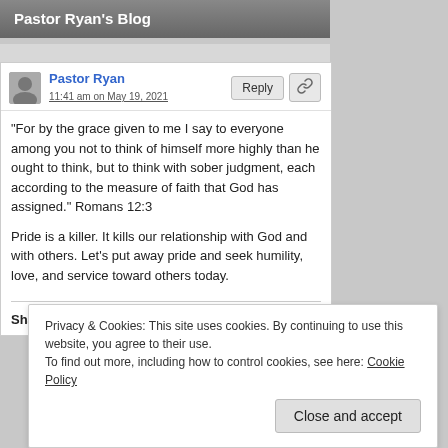Pastor Ryan's Blog
Pastor Ryan
11:41 am on May 19, 2021
“For by the grace given to me I say to everyone among you not to think of himself more highly than he ought to think, but to think with sober judgment, each according to the measure of faith that God has assigned.” Romans 12:3
Pride is a killer. It kills our relationship with God and with others. Let’s put away pride and seek humility, love, and service toward others today.
Share this:
Privacy & Cookies: This site uses cookies. By continuing to use this website, you agree to their use.
To find out more, including how to control cookies, see here: Cookie Policy